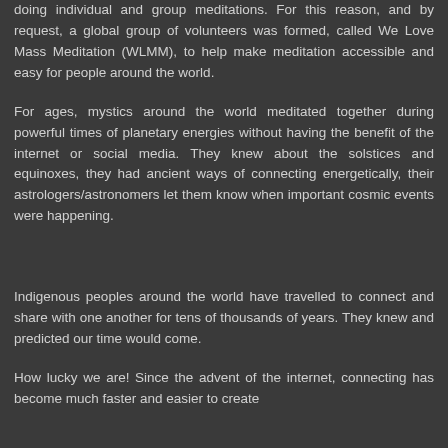doing individual and group meditations. For this reason, and by request, a global group of volunteers was formed, called We Love Mass Meditation (WLMM), to help make meditation accessible and easy for people around the world.
For ages, mystics around the world meditated together during powerful times of planetary energies without having the benefit of the internet or social media. They knew about the solstices and equinoxes, they had ancient ways of connecting energetically, their astrologers/astronomers let them know when important cosmic events were happening.
Indigenous peoples around the world have travelled to connect and share with one another for tens of thousands of years. They knew and predicted our time would come.
How lucky we are! Since the advent of the internet, connecting has become much faster and easier to create